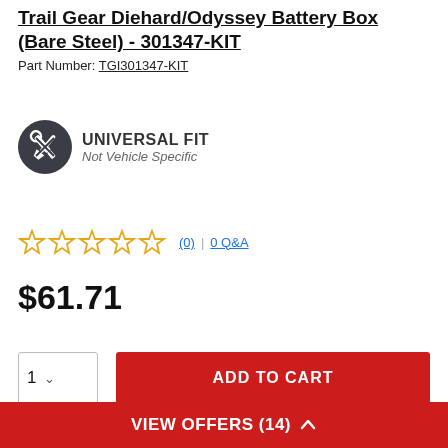Trail Gear Diehard/Odyssey Battery Box (Bare Steel) - 301347-KIT
Part Number: TGI301347-KIT
[Figure (logo): Universal Fit badge icon with wrench and screwdriver crossed, dark circle background]
UNIVERSAL FIT
Not Vehicle Specific
0 stars (0) | 0 Q&A
$61.71
1 [ADD TO CART]
Ship to Home
VIEW OFFERS (14)